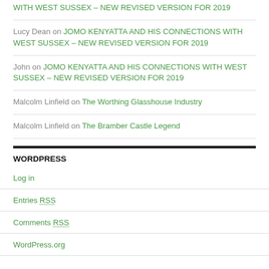WITH WEST SUSSEX – NEW REVISED VERSION FOR 2019
Lucy Dean on JOMO KENYATTA AND HIS CONNECTIONS WITH WEST SUSSEX – NEW REVISED VERSION FOR 2019
John on JOMO KENYATTA AND HIS CONNECTIONS WITH WEST SUSSEX – NEW REVISED VERSION FOR 2019
Malcolm Linfield on The Worthing Glasshouse Industry
Malcolm Linfield on The Bramber Castle Legend
WORDPRESS
Log in
Entries RSS
Comments RSS
WordPress.org